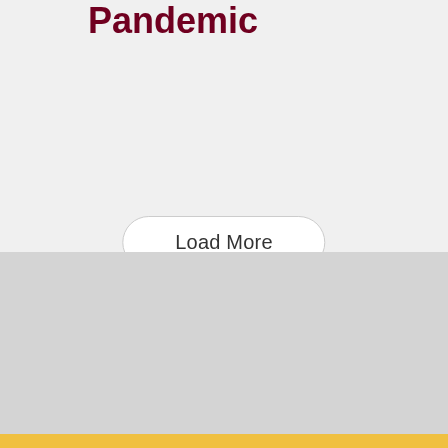Pandemic
Load More
Contact Us | Alumni | Giving | Financial Aid
help